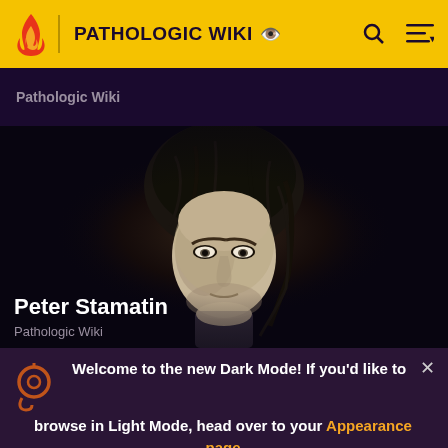PATHOLOGIC WIKI
Pathologic Wiki
[Figure (photo): Dark-lit 3D character render of Peter Stamatin, a gaunt pale-faced man with dark disheveled hair, looking downward against a near-black background]
Peter Stamatin
Pathologic Wiki
Welcome to the new Dark Mode! If you'd like to browse in Light Mode, head over to your Appearance page while logged in and select Hydra.